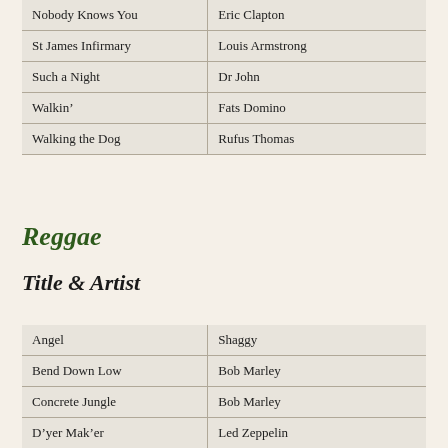| Title | Artist |
| --- | --- |
| Nobody Knows You | Eric Clapton |
| St James Infirmary | Louis Armstrong |
| Such a Night | Dr John |
| Walkin’ | Fats Domino |
| Walking the Dog | Rufus Thomas |
Reggae
Title & Artist
| Title | Artist |
| --- | --- |
| Angel | Shaggy |
| Bend Down Low | Bob Marley |
| Concrete Jungle | Bob Marley |
| D’yer Mak’er | Led Zeppelin |